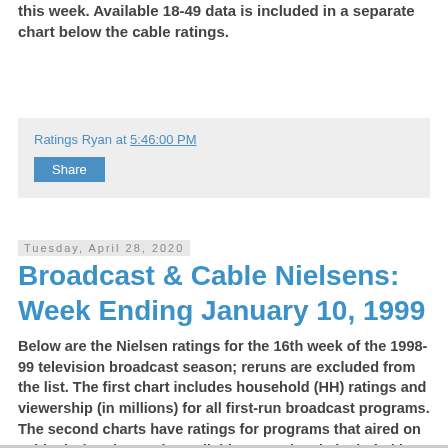this week. Available 18-49 data is included in a separate chart below the cable ratings.
Ratings Ryan at 5:46:00 PM
Share
Tuesday, April 28, 2020
Broadcast & Cable Nielsens: Week Ending January 10, 1999
Below are the Nielsen ratings for the 16th week of the 1998-99 television broadcast season; reruns are excluded from the list. The first chart includes household (HH) ratings and viewership (in millions) for all first-run broadcast programs. The second charts have ratings for programs that aired on cable during the week. Available 18-49 data is included in a separate chart below the cable ratings.